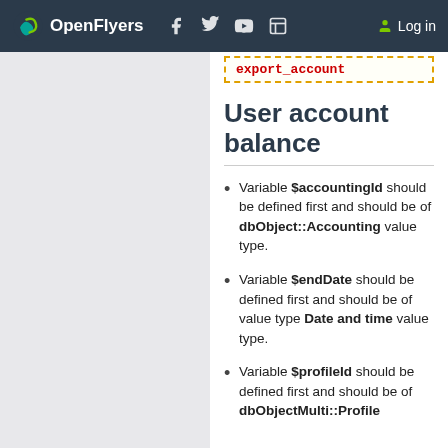OpenFlyers — Log in
export_account
User account balance
Variable $accountingId should be defined first and should be of dbObject::Accounting value type.
Variable $endDate should be defined first and should be of value type Date and time value type.
Variable $profileId should be defined first and should be of dbObjectMulti::Profile